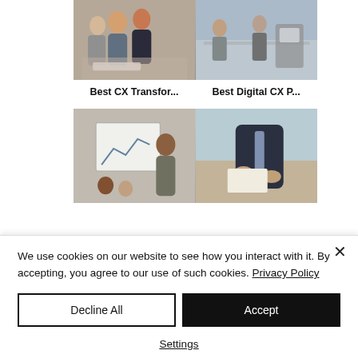[Figure (photo): Two side-by-side office photos: left shows a group of colleagues smiling around a laptop; right shows an open-plan office with people working at long tables.]
Best CX Transfor...
Best Digital CX P...
[Figure (photo): Two side-by-side office photos: left shows a woman presenting at a whiteboard to an audience; right shows a business meeting with hands on a table.]
We use cookies on our website to see how you interact with it. By accepting, you agree to our use of such cookies. Privacy Policy
Decline All
Accept
Settings